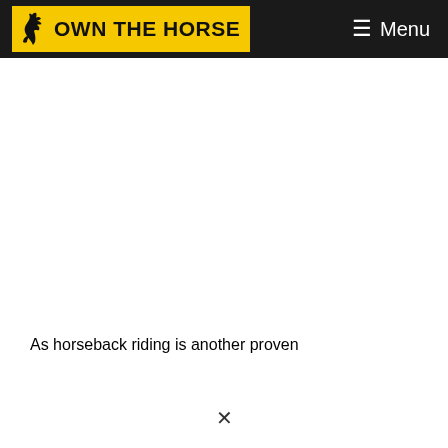OWN THE HORSE — Menu
As horseback riding is another proven